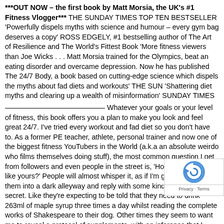***OUT NOW – the first book by Matt Morsia, the UK's #1 Fitness Vlogger*** THE SUNDAY TIMES TOP TEN BESTSELLER 'Powerfully dispels myths with science and humour – every gym bag deserves a copy' ROSS EDGELY, #1 bestselling author of The Art of Resilience and The World's Fittest Book 'More fitness viewers than Joe Wicks . . . Matt Morsia trained for the Olympics, beat an eating disorder and overcame depression. Now he has published The 24/7 Body, a book based on cutting-edge science which dispels the myths about fad diets and workouts' THE SUN 'Shattering diet myths and clearing up a wealth of misinformation' SUNDAY TIMES
Whatever your goals or your level of fitness, this book offers you a plan to make you look and feel great 24/7. I've tried every workout and fad diet so you don't have to. As a former PE teacher, athlete, personal trainer and now one of the biggest fitness YouTubers in the World (a.k.a an absolute weirdo who films themselves doing stuff), the most common question I get from followers and even people in the street is, 'How do I get a body like yours?' People will almost whisper it, as if I'm going to usher them into a dark alleyway and reply with some kind of mystical secret. Like they're expecting to be told that they need to drink 263ml of maple syrup three times a day whilst reading the complete works of Shakespeare to their dog. Other times they seem to want me to reveal a protocol of supplements, with an inference that I must be taking steroids or other drugs, because having a good body without chemicals is now seen by some as almost impo... not. This book is my attempt to shatter all of those myths and give it ... entirely straight. It is about understanding how to live your life in a m... healthy, sustainable and happy way-and how to maintain that forever. And I'm